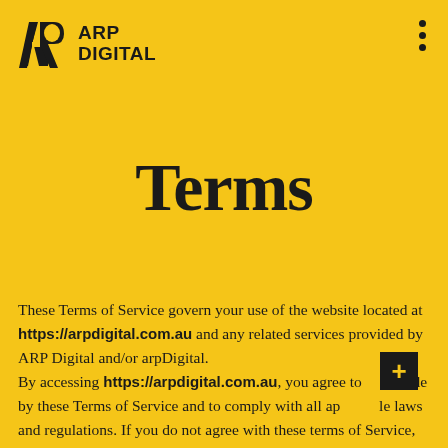[Figure (logo): ARP Digital logo with geometric AR monogram and bold text 'ARP DIGITAL']
Terms
These Terms of Service govern your use of the website located at https://arpdigital.com.au and any related services provided by ARP Digital and/or arpDigital. By accessing https://arpdigital.com.au, you agree to abide by these Terms of Service and to comply with all applicable laws and regulations. If you do not agree with these terms of Service, you are prohibited from using or accessing this